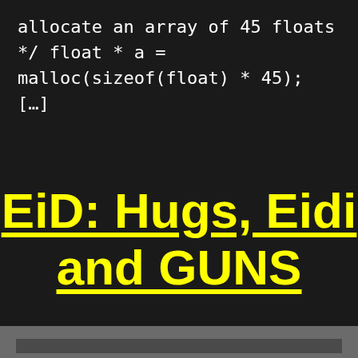allocate an array of 45 floats */ float * a = malloc(sizeof(float) * 45); […]
EiD: Hugs, Eidi and GUNS
[Figure (other): Dark grey bottom bar/strip at the bottom of the page]